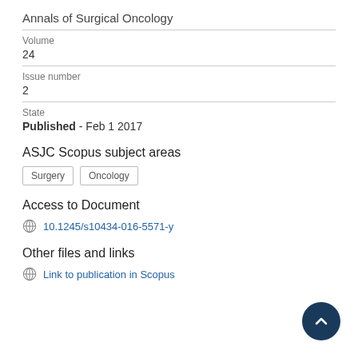Annals of Surgical Oncology
Volume
24
Issue number
2
State
Published - Feb 1 2017
ASJC Scopus subject areas
Surgery
Oncology
Access to Document
10.1245/s10434-016-5571-y
Other files and links
Link to publication in Scopus